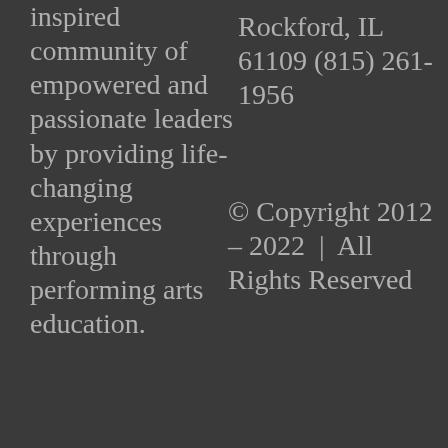inspired community of empowered and passionate leaders by providing life-changing experiences through performing arts education.
Rockford, IL 61109 (815) 261-1956
© Copyright 2012 - 2022 | All Rights Reserved